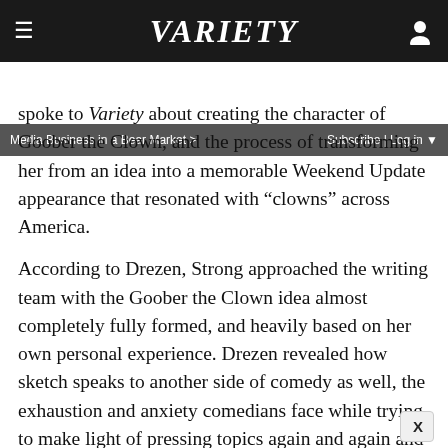VARIETY
Media Business in a Bear Market > | Subscribe | Log in
spoke to Variety about creating the character of Goober the Clown, and the process of transforming her from an idea into a memorable Weekend Update appearance that resonated with “clowns” across America.
According to Drezen, Strong approached the writing team with the Goober the Clown idea almost completely fully formed, and heavily based on her own personal experience. Drezen revealed how sketch speaks to another side of comedy as well, the exhaustion and anxiety comedians face while trying to make light of pressing topics again and again and again.
“It spoke to a thing that Cecily definitely felt, I’m sure me a…